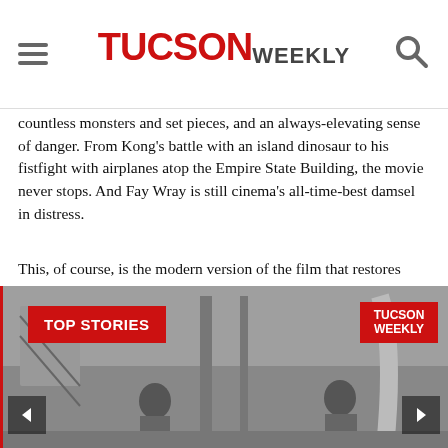Tucson Weekly
countless monsters and set pieces, and an always-elevating sense of danger. From Kong's battle with an island dinosaur to his fistfight with airplanes atop the Empire State Building, the movie never stops. And Fay Wray is still cinema's all-time-best damsel in distress.
This, of course, is the modern version of the film that restores material edited out of the picture for its 1935 re-release. Those viewers did not get the chance to see Kong's famous chewing and stomping of people, and his sniffing of Fay Wray's clothes.
[Figure (photo): Black and white photograph of two people standing outdoors near a fence or gate structure. Overlaid with a red 'TOP STORIES' badge on the left and a red Tucson Weekly logo on the right. Navigation arrows on left and right sides.]